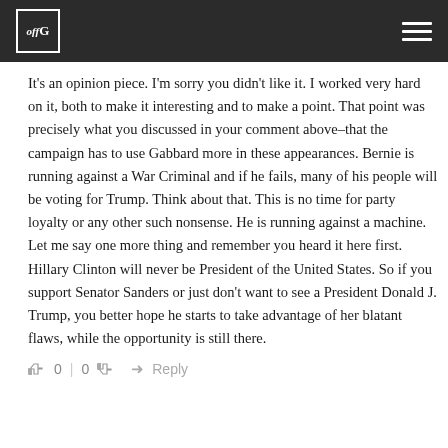offG
It's an opinion piece. I'm sorry you didn't like it. I worked very hard on it, both to make it interesting and to make a point. That point was precisely what you discussed in your comment above–that the campaign has to use Gabbard more in these appearances. Bernie is running against a War Criminal and if he fails, many of his people will be voting for Trump. Think about that. This is no time for party loyalty or any other such nonsense. He is running against a machine.
Let me say one more thing and remember you heard it here first. Hillary Clinton will never be President of the United States. So if you support Senator Sanders or just don't want to see a President Donald J. Trump, you better hope he starts to take advantage of her blatant flaws, while the opportunity is still there.
👍 0 | 0 👎  ➜ Reply